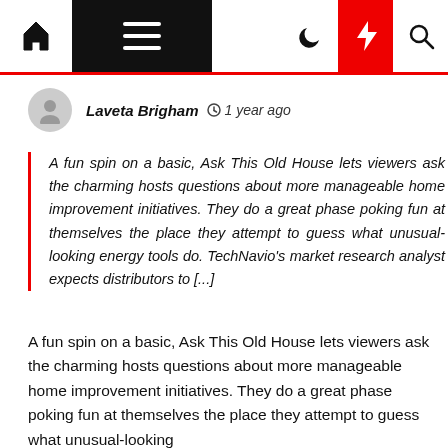Navigation bar with home, menu, dark mode, flash, and search icons
Laveta Brigham  🕐 1 year ago
A fun spin on a basic, Ask This Old House lets viewers ask the charming hosts questions about more manageable home improvement initiatives. They do a great phase poking fun at themselves the place they attempt to guess what unusual-looking energy tools do. TechNavio's market research analyst expects distributors to [...]
A fun spin on a basic, Ask This Old House lets viewers ask the charming hosts questions about more manageable home improvement initiatives. They do a great phase poking fun at themselves the place they attempt to guess what unusual-looking